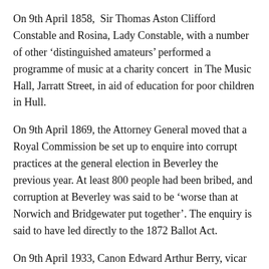On 9th April 1858,  Sir Thomas Aston Clifford Constable and Rosina, Lady Constable, with a number of other ‘distinguished amateurs’ performed a programme of music at a charity concert  in The Music Hall, Jarratt Street, in aid of education for poor children in Hull.
On 9th April 1869, the Attorney General moved that a Royal Commission be set up to enquire into corrupt practices at the general election in Beverley the previous year. At least 800 people had been bribed, and corruption at Beverley was said to be ‘worse than at Norwich and Bridgewater put together’. The enquiry is said to have led directly to the 1872 Ballot Act.
On 9th April 1933, Canon Edward Arthur Berry, vicar of Drypool (grandfather of Mary Berry) was one of the